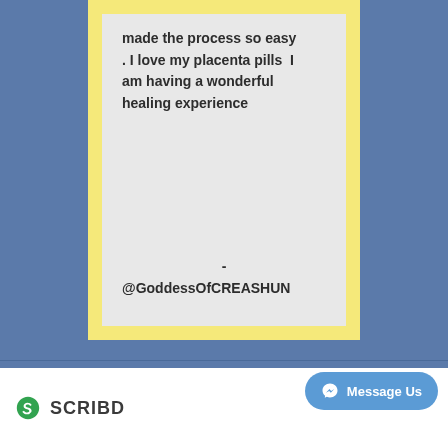made the process so easy . I love my placenta pills  I am having a wonderful healing experience

-

@GoddessOfCREASHUN
[Figure (logo): Scribd logo with stylized S icon and SCRIBD text]
Message Us